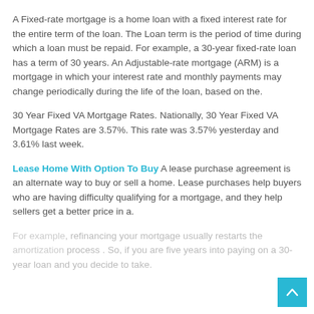A Fixed-rate mortgage is a home loan with a fixed interest rate for the entire term of the loan. The Loan term is the period of time during which a loan must be repaid. For example, a 30-year fixed-rate loan has a term of 30 years. An Adjustable-rate mortgage (ARM) is a mortgage in which your interest rate and monthly payments may change periodically during the life of the loan, based on the.
30 Year Fixed VA Mortgage Rates. Nationally, 30 Year Fixed VA Mortgage Rates are 3.57%. This rate was 3.57% yesterday and 3.61% last week.
Lease Home With Option To Buy A lease purchase agreement is an alternate way to buy or sell a home. Lease purchases help buyers who are having difficulty qualifying for a mortgage, and they help sellers get a better price in a.
For example, refinancing your mortgage usually restarts the amortization process . So, if you are five years into paying on a 30-year loan and you decide to take.